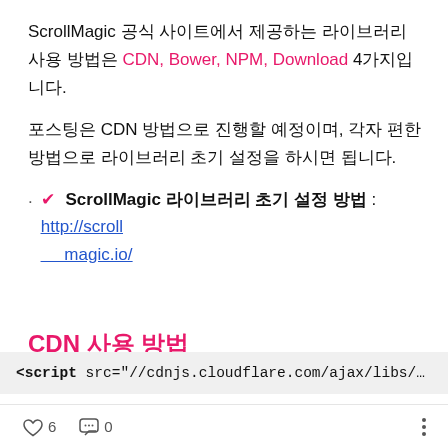ScrollMagic 공식 사이트에서 제공하는 라이브러리 사용 방법은 CDN, Bower, NPM, Download 4가지입니다.
포스팅은 CDN 방법으로 진행할 예정이며, 각자 편한 방법으로 라이브러리 초기 설정을 하시면 됩니다.
✔ ScrollMagic 라이브러리 초기 설정 방법 : http://scrollmagic.io/
CDN 사용 방법
<script src="//cdnjs.cloudflare.com/ajax/libs/Scrol
♡ 6  💬 0  ⋮